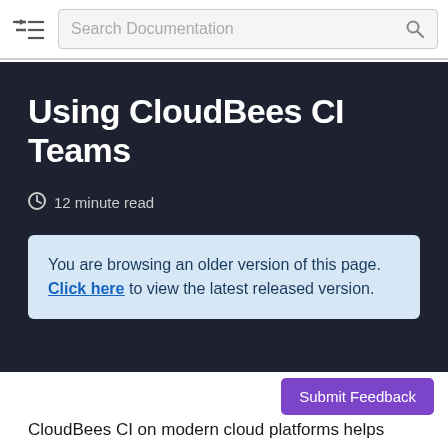Search Documentation
Using CloudBees CI Teams
12 minute read
You are browsing an older version of this page. Click here to view the latest released version.
Submit Feedback
CloudBees CI on modern cloud platforms helps teams